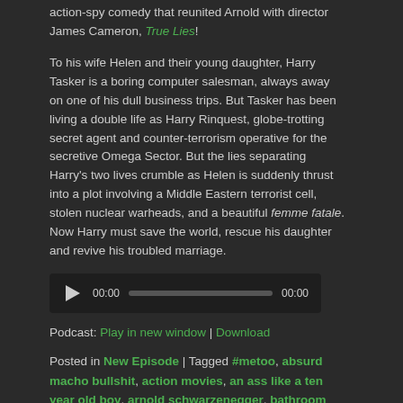action-spy comedy that reunited Arnold with director James Cameron, True Lies!
To his wife Helen and their young daughter, Harry Tasker is a boring computer salesman, always away on one of his dull business trips. But Tasker has been living a double life as Harry Rinquest, globe-trotting secret agent and counter-terrorism operative for the secretive Omega Sector. But the lies separating Harry's two lives crumble as Helen is suddenly thrust into a plot involving a Middle Eastern terrorist cell, stolen nuclear warheads, and a beautiful femme fatale. Now Harry must save the world, rescue his daughter and revive his troubled marriage.
[Figure (other): Audio player widget with play button, time display 00:00, progress bar, and end time 00:00]
Podcast: Play in new window | Download
Posted in New Episode | Tagged #metoo, absurd macho bullshit, action movies, an ass like a ten year old boy, arnold schwarzenegger, bathroom fight, bill paxton